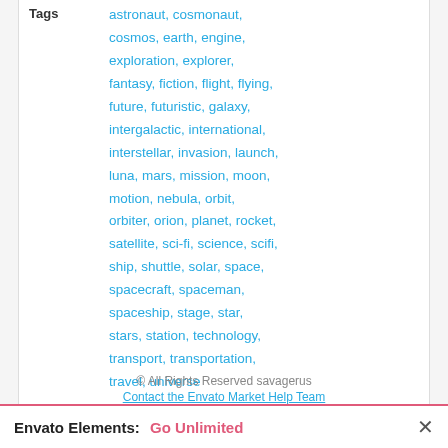Tags  astronaut, cosmonaut, cosmos, earth, engine, exploration, explorer, fantasy, fiction, flight, flying, future, futuristic, galaxy, intergalactic, international, interstellar, invasion, launch, luna, mars, mission, moon, motion, nebula, orbit, orbiter, orion, planet, rocket, satellite, sci-fi, science, scifi, ship, shuttle, solar, space, spacecraft, spaceman, spaceship, stage, star, stars, station, technology, transport, transportation, travel, universe
© All Rights Reserved savagerus
Contact the Envato Market Help Team
Envato Elements: Go Unlimited ×